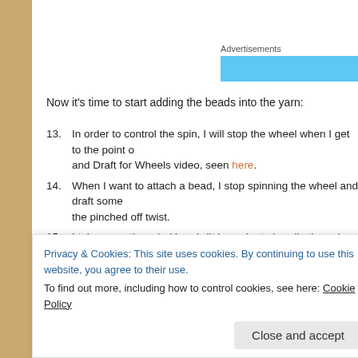[Figure (other): Advertisements banner — a cyan/light-blue horizontal bar with label 'Advertisements' above it]
Now it's time to start adding the beads into the yarn:
13. In order to control the spin, I will stop the wheel when I get to the point of... and Draft for Wheels video, seen here.
14. When I want to attach a bead, I stop spinning the wheel and draft some... the pinched off twist.
15. I take a pre-threaded bead. (It is easier to handle these by picking the b...
16. I hold the end of the fibre that passes through the bead with the thumb a... and lay the beaded fibre parallel to the section just drafted.
Privacy & Cookies: This site uses cookies. By continuing to use this website, you agree to their use. To find out more, including how to control cookies, see here: Cookie Policy